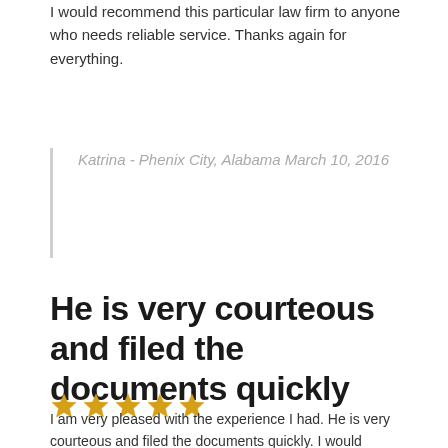I would recommend this particular law firm to anyone who needs reliable service. Thanks again for everything.
Katrina - Phenix City, Alabama March 10, 2016
He is very courteous and filed the documents quickly
[Figure (other): Five gold star rating icons]
I am very pleased with the experience I had. He is very courteous and filed the documents quickly. I would recommend